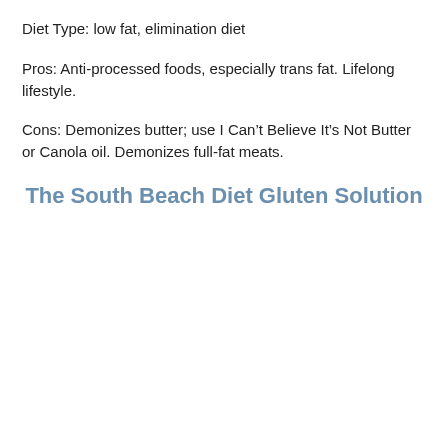Diet Type: low fat, elimination diet
Pros: Anti-processed foods, especially trans fat. Lifelong lifestyle.
Cons: Demonizes butter; use I Can’t Believe It’s Not Butter or Canola oil. Demonizes full-fat meats.
The South Beach Diet Gluten Solution